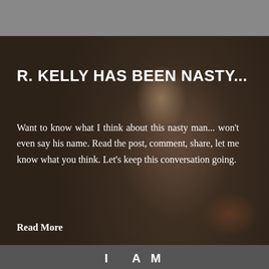[Figure (photo): Dark, moody photo of a person (R. Kelly) with a semi-transparent dark overlay. The image shows a male figure in dark clothing against a blurred background. A bottom strip shows partial text 'I AM' in white letters.]
R. KELLY HAS BEEN NASTY...
Want to know what I think about this nasty man... won't even say his name. Read the post, comment, share, let me know what you think. Let's keep this conversation going.
Read More